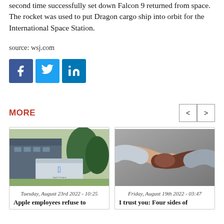second time successfully set down Falcon 9 returned from space. The rocket was used to put Dragon cargo ship into orbit for the International Space Station.
source: wsj.com
[Figure (infographic): Three social media share buttons: Facebook (blue, f icon), Twitter (light blue, bird icon), LinkedIn (blue, in icon)]
MORE
[Figure (photo): Apple Campus sign with Apple logo in Silicon Valley, outdoor setting with trees]
Tuesday, August 23rd 2022 - 10:25
Apple employees refuse to
[Figure (photo): Two people shaking hands, one with lighter skin and one with darker skin]
Friday, August 19th 2022 - 03:47
I trust you: Four sides of